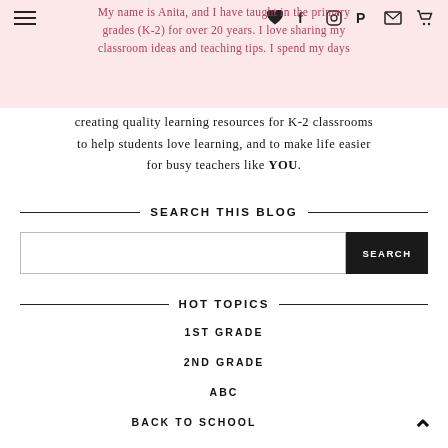My name is Anita, and I have taught in the primary grades (K-2) for over 20 years. I love sharing my classroom ideas and teaching tips. I spend my days
creating quality learning resources for K-2 classrooms to help students love learning, and to make life easier for busy teachers like YOU.
SEARCH THIS BLOG
HOT TOPICS
1ST GRADE
2ND GRADE
ABC
BACK TO SCHOOL